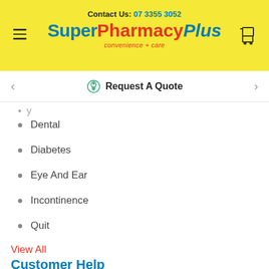Contact Us: 07 3355 3052
SuperPharmacyPlus convenience + care
[Figure (screenshot): SuperPharmacyPlus logo on yellow background with hamburger menu and cart icon]
Request A Quote
Dental
Diabetes
Eye And Ear
Incontinence
Quit
View All
Customer Help
[Figure (screenshot): Blue rounded button with chat icon and text: Click here for help!]
Create An Account